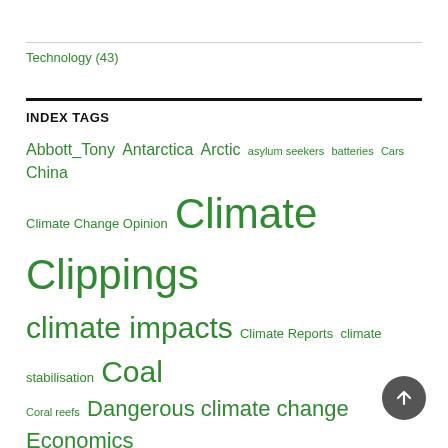Technology (43)
INDEX TAGS
Abbott_Tony Antarctica Arctic asylum seekers batteries Cars China Climate Change Opinion Climate Clippings climate impacts Climate Reports climate stabilisation Coal Coral reefs Dangerous climate change Economics Electricity generation electricity prices Emissions emissions targets Energy extreme weather Federal Election 2016 Gas Great Barrier Reef Hansen_James International Climate Co-operation methane Morrison_Scott National Electricity Market Open Threads opinion polls renewable energy Renewables Saturday salon Sea level rise Shorten_Bill Solar Solar power taxation Temperature Transport Trump_Donald Turnbull_Malcolm Weekly salon